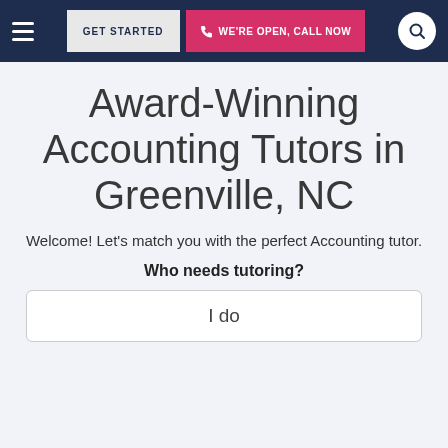GET STARTED | WE'RE OPEN, CALL NOW
Award-Winning Accounting Tutors in Greenville, NC
Welcome! Let's match you with the perfect Accounting tutor.
Who needs tutoring?
I do